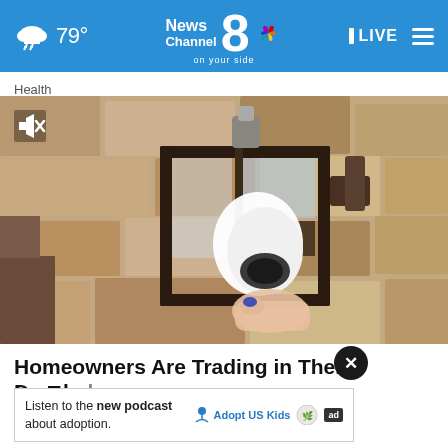79° News Channel 8 on your side NBC LIVE
Health
[Figure (photo): Close-up photo of a smart home security camera being installed into a traditional outdoor lantern light fixture mounted on a stone wall. A hand with blue nail polish is seen inserting a white camera device into the bottom of a dark metal lantern.]
Homeowners Are Trading in Their Doorbell Cams for T
Kelli...
Listen to the new podcast about adoption. Adopt US Kids ad